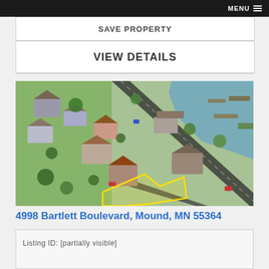MENU ≡
SAVE PROPERTY
VIEW DETAILS
[Figure (photo): Aerial drone photo of 4998 Bartlett Boulevard property in Mound, MN. Shows a lakeside neighborhood with a road running diagonally, several houses, trees, and a lake with docks in the upper right. The subject property is highlighted with a yellow boundary outline showing a lot with a small house.]
4998 Bartlett Boulevard, Mound, MN 55364
Listing ID: [partially visible]